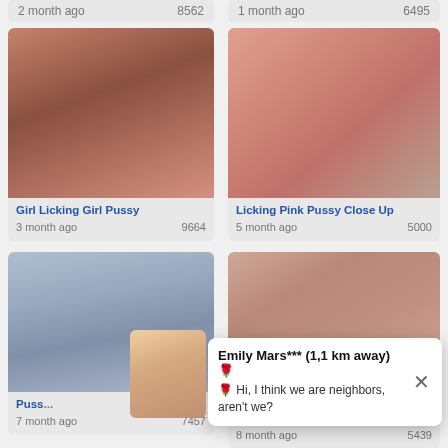2 month ago    8562
1 month ago    6495
[Figure (photo): Two women in intimate pose, one wearing red top]
Girl Licking Girl Pussy
3 month ago    9664
[Figure (photo): Close up pink intimate photo]
Licking Pink Pussy Close Up
5 month ago    5000
[Figure (photo): Woman at office desk with laptop]
Puss...
7 month ago    7457
[Figure (photo): Close up intimate photo]
Lesbian in Close Pussy Licking
8 month ago    5439
Emily Mars*** (1,1 km away) 🌹
🌹 Hi, I think we are neighbors, aren't we?